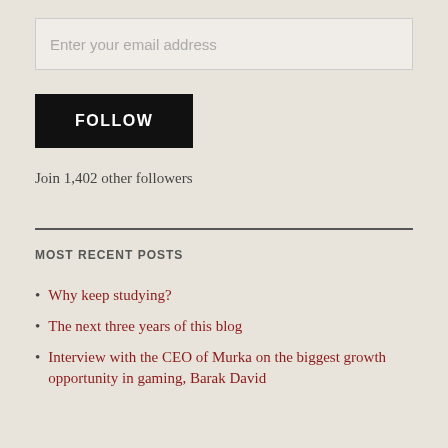Enter your email address
FOLLOW
Join 1,402 other followers
MOST RECENT POSTS
Why keep studying?
The next three years of this blog
Interview with the CEO of Murka on the biggest growth opportunity in gaming, Barak David